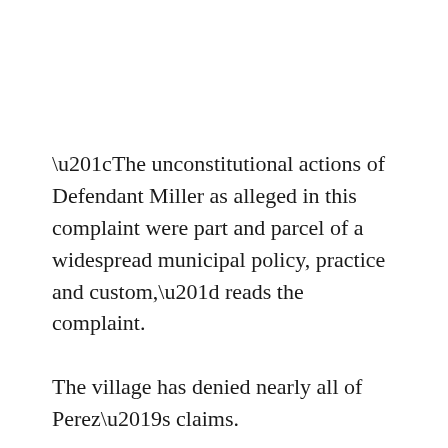“The unconstitutional actions of Defendant Miller as alleged in this complaint were part and parcel of a widespread municipal policy, practice and custom,” reads the complaint.
The village has denied nearly all of Perez’s claims.
According to the village, Miller was monitoring the police radio on Feb. 3, 2017, when he heard a report from the Chicago Police Department that a stolen Jetta was traveling west down Jackson Boulevard. He